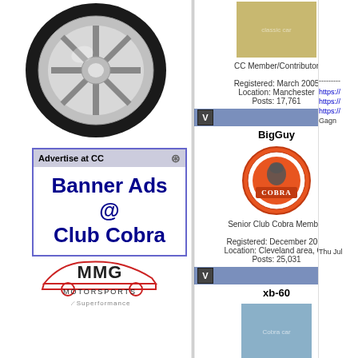[Figure (illustration): Chrome alloy wheel/rim photo on left sidebar]
[Figure (illustration): Advertise at CC - Banner Ads @ Club Cobra advertisement box]
[Figure (logo): MMG Motorsports / Superformance logo]
[Figure (photo): Gold classic car photo - CC Member/Contributor profile]
CC Member/Contributor
Registered: March 2005
Location: Manchester
Posts: 17,761
BigGuy
[Figure (logo): Cobra badge logo - BigGuy avatar]
Senior Club Cobra Member
Registered: December 2003
Location: Cleveland area, OH
Posts: 25,031
xb-60
[Figure (photo): Silver Cobra car photo - xb-60 profile]
CC Member/Contributor